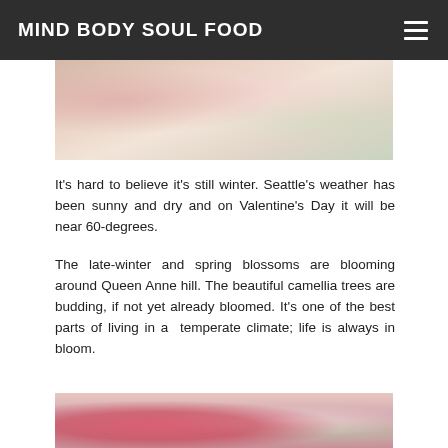MIND BODY SOUL FOOD
[Figure (photo): Top portion of a food/floral photo showing pink flowers, white lace doily and floral elements on a wooden background]
It's hard to believe it's still winter. Seattle's weather has been sunny and dry and on Valentine's Day it will be near 60-degrees.
The late-winter and spring blossoms are blooming around Queen Anne hill. The beautiful camellia trees are budding, if not yet already bloomed. It's one of the best parts of living in a  temperate climate; life is always in bloom.
[Figure (photo): Bottom portion of a food photo showing a pink frosted cake or dessert with white lace doily and floral decoration]